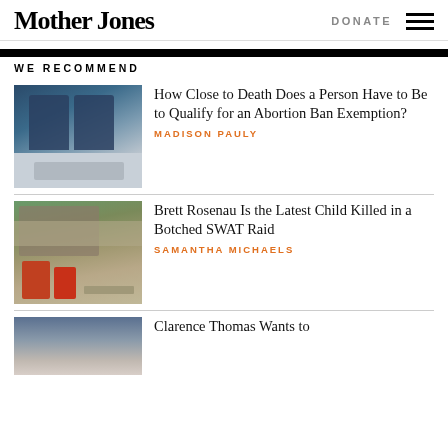Mother Jones | DONATE
WE RECOMMEND
[Figure (photo): Medical personnel in scrubs wheeling a patient on a gurney in a hospital corridor]
How Close to Death Does a Person Have to Be to Qualify for an Abortion Ban Exemption?
MADISON PAULY
[Figure (photo): Destroyed house exterior with debris and red chairs in yard]
Brett Rosenau Is the Latest Child Killed in a Botched SWAT Raid
SAMANTHA MICHAELS
[Figure (photo): Partial photo of a person - Clarence Thomas article thumbnail]
Clarence Thomas Wants to